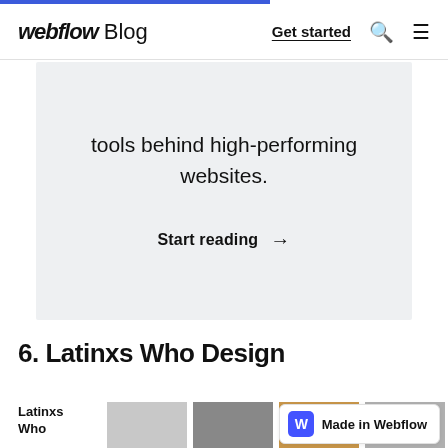webflow Blog | Get started
tools behind high-performing websites.
Start reading →
6. Latinxs Who Design
Latinxs Who
[Figure (photo): Three thumbnail photos of people, partially visible at bottom of page]
[Figure (logo): Made in Webflow badge with blue W icon]